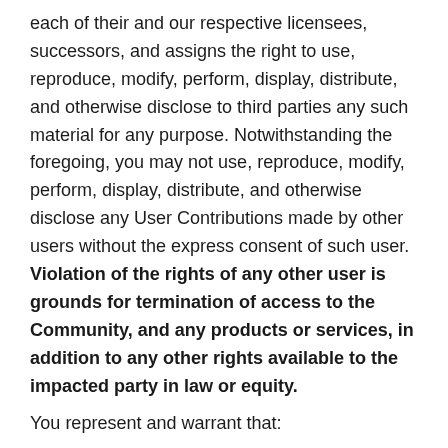each of their and our respective licensees, successors, and assigns the right to use, reproduce, modify, perform, display, distribute, and otherwise disclose to third parties any such material for any purpose. Notwithstanding the foregoing, you may not use, reproduce, modify, perform, display, distribute, and otherwise disclose any User Contributions made by other users without the express consent of such user. Violation of the rights of any other user is grounds for termination of access to the Community, and any products or services, in addition to any other rights available to the impacted party in law or equity.
You represent and warrant that:
You own or control all rights in and to the User Contributions and have the right to grant the